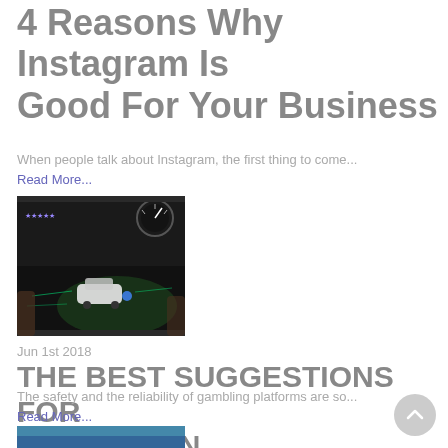4 Reasons Why Instagram Is Good For Your Business
When people talk about Instagram, the first thing to come...
Read More...
[Figure (photo): Person holding a tablet showing a racing car game with a speedometer overlay]
Jun 1st 2018
THE BEST SUGGESTIONS FOR ONLINE FUN
The safety and the reliability of gambling platforms are so...
Read More...
[Figure (photo): Partial thumbnail image at bottom of page]